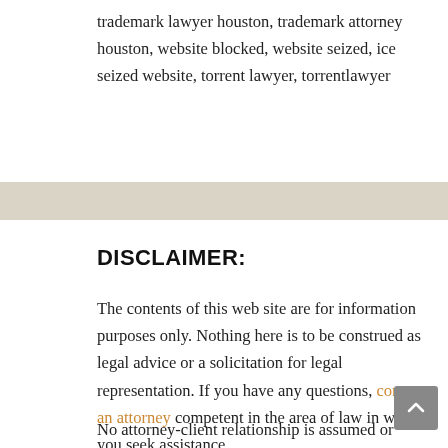trademark lawyer houston, trademark attorney houston, website blocked, website seized, ice seized website, torrent lawyer, torrentlawyer
DISCLAIMER:
The contents of this web site are for information purposes only. Nothing here is to be construed as legal advice or a solicitation for legal representation. If you have any questions, contact an attorney competent in the area of law in which you seek assistance.
No attorney-client relationship is assumed or formed